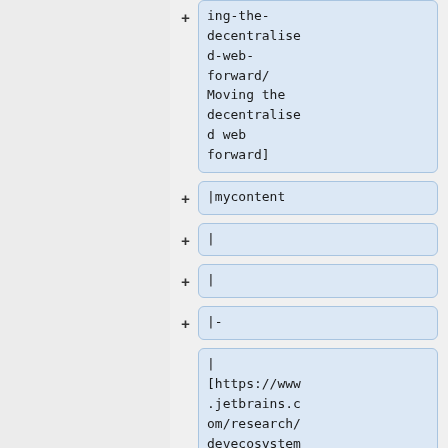ing-the-decentralised-web-forward/ Moving the decentralised web forward]
|mycontent
|
|
|-
| [https://www.jetbrains.com/research/devecosystem-2018/?utm_source=t